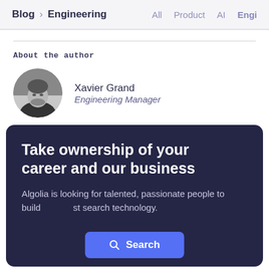Blog > Engineering   All   Product   AI   Engi
About the author
[Figure (photo): Circular black-and-white headshot photo of Xavier Grand]
Xavier Grand
Engineering Manager
Take ownership of your career and our business
Algolia is looking for talented, passionate people to build the best search technology.
[Figure (screenshot): Blue Search button overlay with magnifying glass icon]